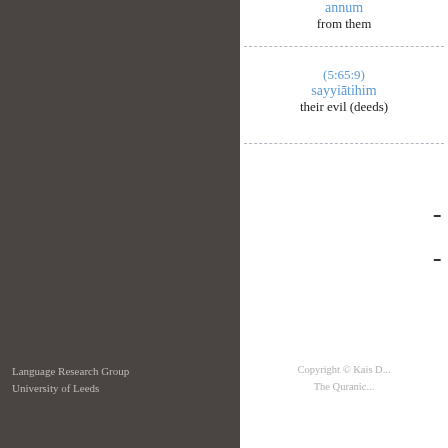annum
from them
(5:65:9)
sayyiātihim
their evil (deeds)
Language Research Group
University of Leeds
Copyright © Kais D...
The Quranic...